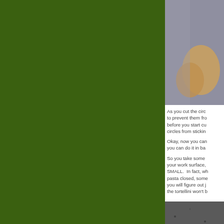[Figure (photo): Close-up photo of pasta dough/tortellini being made on a granite or stone surface, showing tan/beige dough shape against a speckled gray background]
As you cut the circles, to prevent them from before you start cu circles from sticking
Okay, now you can you can do it in ba
So you take some your work surface, SMALL.  In fact, wh pasta closed, some you will figure out j the tortellini won't b
[Figure (photo): Close-up photo of what appears to be a dark granite or stone surface, possibly showing pasta dough in progress]